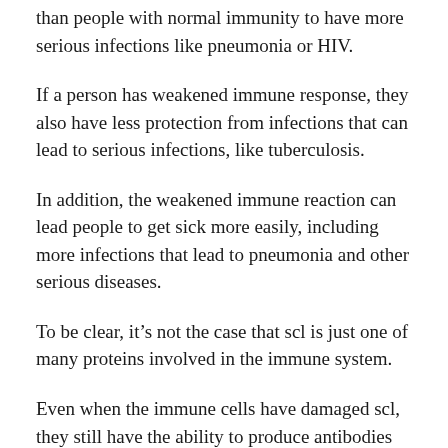than people with normal immunity to have more serious infections like pneumonia or HIV.
If a person has weakened immune response, they also have less protection from infections that can lead to serious infections, like tuberculosis.
In addition, the weakened immune reaction can lead people to get sick more easily, including more infections that lead to pneumonia and other serious diseases.
To be clear, it’s not the case that scl is just one of many proteins involved in the immune system.
Even when the immune cells have damaged scl, they still have the ability to produce antibodies that are able to fight against the disease, which are crucial to the fight against infection.